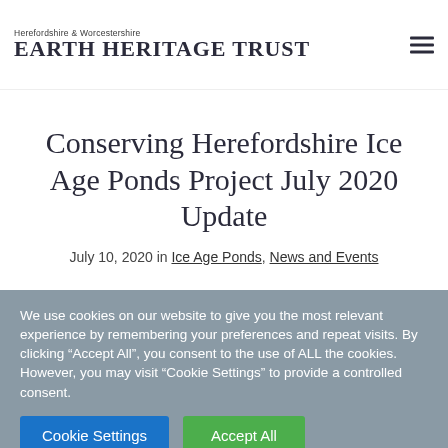Herefordshire & Worcestershire Earth Heritage Trust
Conserving Herefordshire Ice Age Ponds Project July 2020 Update
July 10, 2020 in Ice Age Ponds, News and Events
We use cookies on our website to give you the most relevant experience by remembering your preferences and repeat visits. By clicking “Accept All”, you consent to the use of ALL the cookies. However, you may visit “Cookie Settings” to provide a controlled consent.